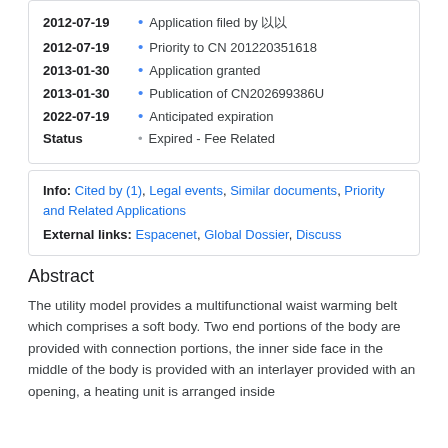| Date | Event |
| --- | --- |
| 2012-07-19 | Application filed by 以以 |
| 2012-07-19 | Priority to CN 201220351618 |
| 2013-01-30 | Application granted |
| 2013-01-30 | Publication of CN202699386U |
| 2022-07-19 | Anticipated expiration |
| Status | Expired - Fee Related |
Info: Cited by (1), Legal events, Similar documents, Priority and Related Applications
External links: Espacenet, Global Dossier, Discuss
Abstract
The utility model provides a multifunctional waist warming belt which comprises a soft body. Two end portions of the body are provided with connection portions, the inner side face in the middle of the body is provided with an interlayer provided with an opening, a heating unit is arranged inside